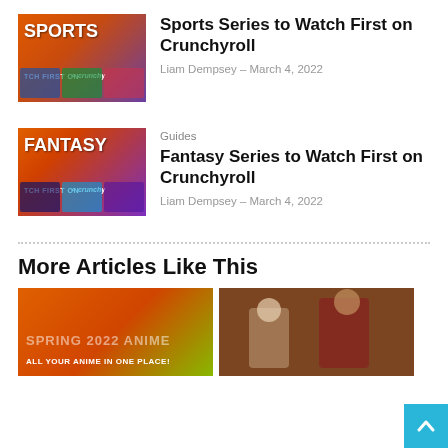[Figure (illustration): Thumbnail for Sports Series article — orange/purple gradient with 'SPORTS' text and anime character images]
Sports Series to Watch First on Crunchyroll
Liam Dempsey – March 4, 2022
[Figure (illustration): Thumbnail for Fantasy Series article — orange/purple gradient with 'FANTASY' text and anime character images]
Guides
Fantasy Series to Watch First on Crunchyroll
Liam Dempsey – March 4, 2022
More Articles Like This
[Figure (illustration): Spring 2022 Anime thumbnail — orange gradient with 'SPRING 2022 ANIME' and 'ALL YOUR ANIME IN ONE PLACE!' text]
[Figure (illustration): Anime scene thumbnail — two anime characters in a room, one with white hair and one with brown hair in red uniform]